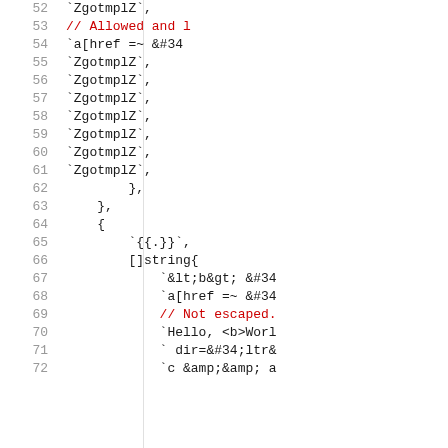Code snippet lines 52-72 showing Go template code with HTML selectors and string literals
52: `ZgotmplZ`,
53: // Allowed and ...
54: `a[href =~ &#34...
55: `ZgotmplZ`,
56: `ZgotmplZ`,
57: `ZgotmplZ`,
58: `ZgotmplZ`,
59: `ZgotmplZ`,
60: `ZgotmplZ`,
61: `ZgotmplZ`,
62: },
63: },
64: {
65: `{{.}}`,
66: []string{
67: `&lt;b&gt; &#34...
68: `a[href =~ &#34...
69: // Not escaped.
70: `Hello, <b>Worl...
71: ` dir=&#34;ltr&...
72: `c &amp;&amp; a...